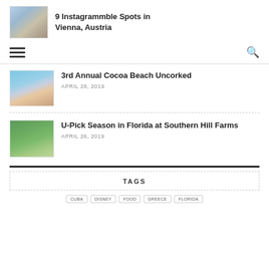[Figure (photo): Thumbnail of a building with sky]
9 Instagrammble Spots in Vienna, Austria
[Figure (other): Hamburger menu icon and search icon navigation bar]
[Figure (photo): Thumbnail of beach scene with wine glass]
3rd Annual Cocoa Beach Uncorked
APRIL 28, 2019
[Figure (photo): Thumbnail of person in farm field]
U-Pick Season in Florida at Southern Hill Farms
APRIL 26, 2019
TAGS
CUBA  DISNEY  FOOD  GREECE  FLORIDA